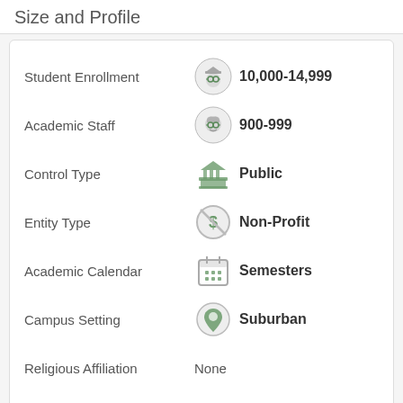Size and Profile
Student Enrollment: 10,000-14,999
Academic Staff: 900-999
Control Type: Public
Entity Type: Non-Profit
Academic Calendar: Semesters
Campus Setting: Suburban
Religious Affiliation: None
Facilities and Services